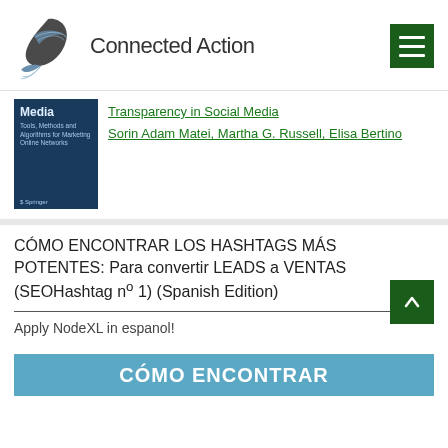[Figure (logo): Connected Action logo with stylized bird/fish SVG and text 'Connected Action']
[Figure (photo): Book cover for 'Media' book with dark blue background, Springer publisher logo]
Transparency in Social Media
Sorin Adam Matei, Martha G. Russell, Elisa Bertino
CÓMO ENCONTRAR LOS HASHTAGS MÁS POTENTES: Para convertir LEADS a VENTAS (SEOHashtag nº 1) (Spanish Edition)
Apply NodeXL in espanol!
[Figure (screenshot): Blue button/banner with text 'CÓMO ENCONTRAR' in white bold text]